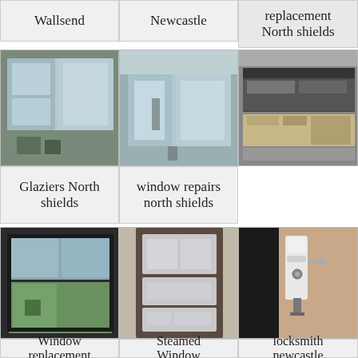Wallsend
Newcastle
replacement North shields
[Figure (photo): Interior view of white uPVC windows with garden outside]
[Figure (photo): Interior conservatory with large glass windows]
[Figure (photo): Damaged or broken window close-up showing frame and debris]
Glaziers North shields
window repairs north shields
[Figure (photo): Black uPVC window looking out to garden]
[Figure (photo): Exterior of a house with windows visible]
[Figure (photo): Close-up of white uPVC door handle with keys]
Window replacement
Steamed Window
locksmith newcastle